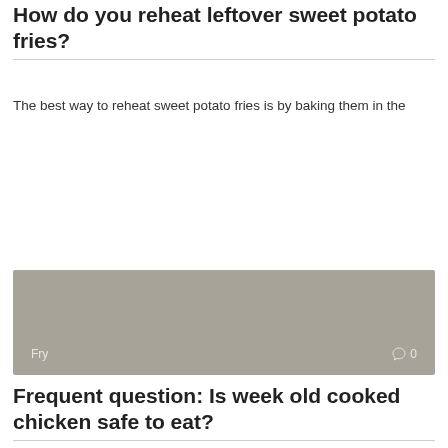How do you reheat leftover sweet potato fries?
The best way to reheat sweet potato fries is by baking them in the
[Figure (photo): Gray placeholder image with 'Fry' label and comment count '0' in bottom corners]
Frequent question: Is week old cooked chicken safe to eat?
After chicken is cooked, it should sit out at room temperature no more than
[Figure (photo): Gray placeholder image partially visible at bottom of page]